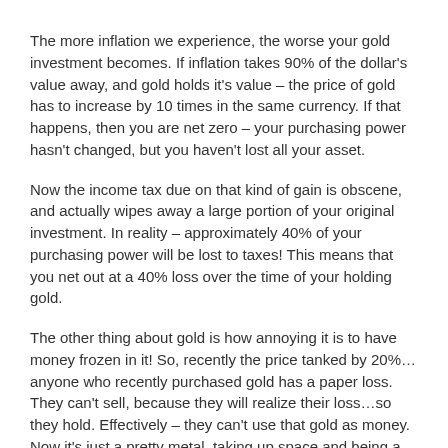The more inflation we experience, the worse your gold investment becomes. If inflation takes 90% of the dollar's value away, and gold holds it's value – the price of gold has to increase by 10 times in the same currency. If that happens, then you are net zero – your purchasing power hasn't changed, but you haven't lost all your asset.
Now the income tax due on that kind of gain is obscene, and actually wipes away a large portion of your original investment. In reality – approximately 40% of your purchasing power will be lost to taxes! This means that you net out at a 40% loss over the time of your holding gold.
The other thing about gold is how annoying it is to have money frozen in it! So, recently the price tanked by 20%…anyone who recently purchased gold has a paper loss. They can't sell, because they will realize their loss…so they hold. Effectively – they can't use that gold as money. Now it's just a pretty metal, taking up space and being a target for any would be break and enter thief.